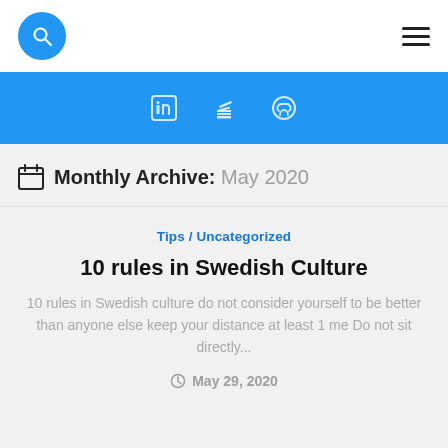Search | Menu
[Figure (infographic): Blue navigation bar with LinkedIn, Stack Overflow, and GitHub social icons]
Monthly Archive: May 2020
Tips / Uncategorized
10 rules in Swedish Culture
10 rules in Swedish culture do not consider yourself to be better than anyone else keep your distance at least 1 me Do not sit directly...
May 29, 2020